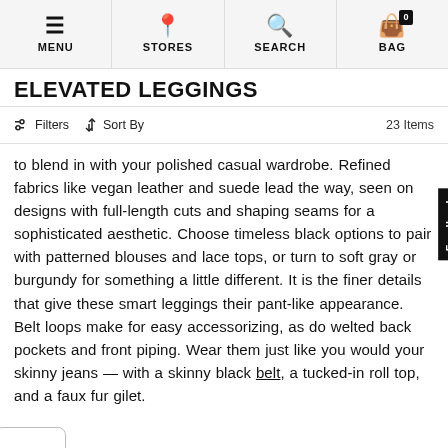MENU  STORES  SEARCH  BAG
ELEVATED LEGGINGS
Filters  Sort By  23 Items
to blend in with your polished casual wardrobe. Refined fabrics like vegan leather and suede lead the way, seen on designs with full-length cuts and shaping seams for a sophisticated aesthetic. Choose timeless black options to pair with patterned blouses and lace tops, or turn to soft gray or burgundy for something a little different. It is the finer details that give these smart leggings their pant-like appearance. Belt loops make for easy accessorizing, as do welted back pockets and front piping. Wear them just like you would your skinny jeans — with a skinny black belt, a tucked-in roll top, and a faux fur gilet.
LAZY-DAY COMPANIONS